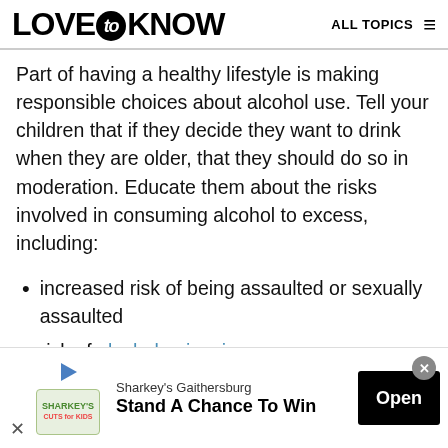LOVE to KNOW   ALL TOPICS
Part of having a healthy lifestyle is making responsible choices about alcohol use. Tell your children that if they decide they want to drink when they are older, that they should do so in moderation. Educate them about the risks involved in consuming alcohol to excess, including:
increased risk of being assaulted or sexually assaulted
risk of alcohol poisoning
consequences associated with being pulled over for
[Figure (other): Advertisement banner: Sharkey's Gaithersburg - Stand A Chance To Win, with Open button]